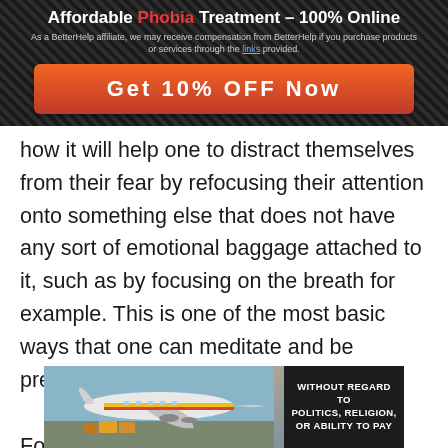Affordable Phobia Treatment – 100% Online
As a BetterHelp affiliate, we may receive compensation from BetterHelp if you purchase products or services through the links provided.
[Figure (other): Red CTA button: Get 10% OFF Now]
how it will help one to distract themselves from their fear by refocusing their attention onto something else that does not have any sort of emotional baggage attached to it, such as by focusing on the breath for example. This is one of the most basic ways that one can meditate and be present.

For someone with cnidophobia in the midst of a panic attack, redirecting one's attention to the various sensations felt when breathing can
[Figure (photo): Advertisement banner showing an airplane being loaded with cargo, with text 'WITHOUT REGARD TO POLITICS, RELIGION, OR ABILITY TO PAY']